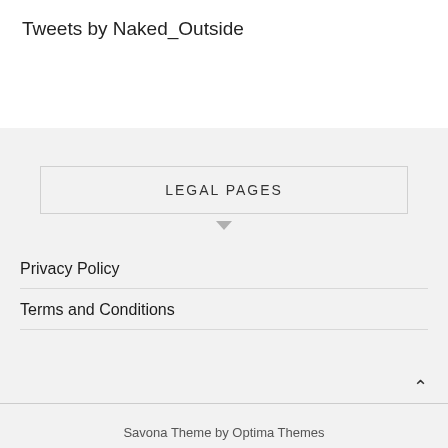Tweets by Naked_Outside
LEGAL PAGES
Privacy Policy
Terms and Conditions
Savona Theme by Optima Themes